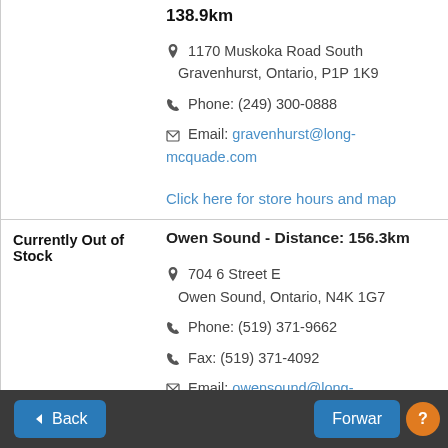138.9km
1170 Muskoka Road South Gravenhurst, Ontario, P1P 1K9
Phone: (249) 300-0888
Email: gravenhurst@long-mcquade.com
Click here for store hours and map
Currently Out of Stock
Owen Sound - Distance: 156.3km
704 6 Street E Owen Sound, Ontario, N4K 1G7
Phone: (519) 371-9662
Fax: (519) 371-4092
Email: owensound@long-mcquade.com
Back | Forward